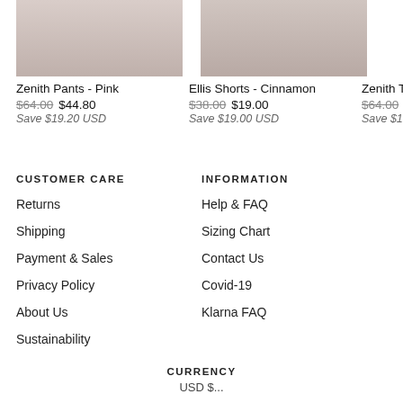[Figure (photo): Product photo top-cropped: Zenith Pants - Pink]
Zenith Pants - Pink
$64.00  $44.80
Save $19.20 USD
[Figure (photo): Product photo top-cropped: Ellis Shorts - Cinnamon]
Ellis Shorts - Cinnamon
$38.00  $19.00
Save $19.00 USD
[Figure (photo): Product photo top-cropped: Zenith Top (partially visible)]
Zenith Top -
$64.00  $44.8
Save $19.20 U
CUSTOMER CARE
Returns
Shipping
Payment & Sales
Privacy Policy
About Us
Sustainability
INFORMATION
Help & FAQ
Sizing Chart
Contact Us
Covid-19
Klarna FAQ
CURRENCY
USD $...